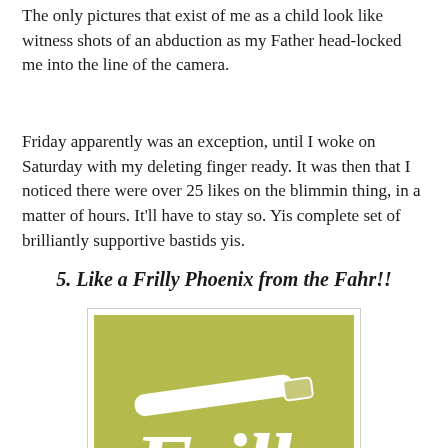The only pictures that exist of me as a child look like witness shots of an abduction as my Father head-locked me into the line of the camera.
Friday apparently was an exception, until I woke on Saturday with my deleting finger ready. It was then that I noticed there were over 25 likes on the blimmin thing, in a matter of hours. It'll have to stay so. Yis complete set of brilliantly supportive bastids yis.
5. Like a Frilly Phoenix from the Fahr!!
[Figure (logo): Frills logo: white cursive 'Frills' text with a paintbrush on an olive/yellow-green background]